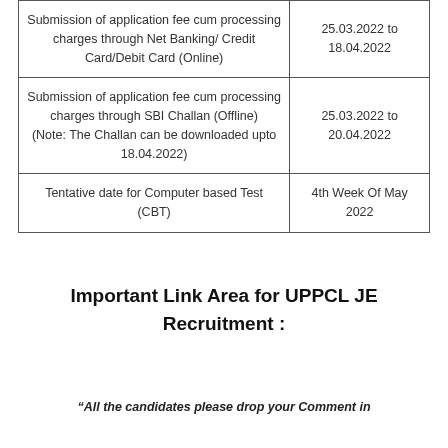| Submission of application fee cum processing charges through Net Banking/ Credit Card/Debit Card (Online) | 25.03.2022 to 18.04.2022 |
| Submission of application fee cum processing charges through SBI Challan (Offline)
(Note: The Challan can be downloaded upto 18.04.2022) | 25.03.2022 to 20.04.2022 |
| Tentative date for Computer based Test (CBT) | 4th Week Of May 2022 |
Important Link Area for UPPCL JE Recruitment :
“All the candidates please drop your Comment in